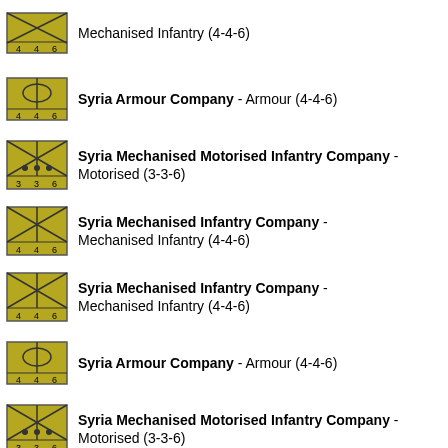Mechanised Infantry (4-4-6)
Syria Armour Company - Armour (4-4-6)
Syria Mechanised Motorised Infantry Company - Motorised (3-3-6)
Syria Mechanised Infantry Company - Mechanised Infantry (4-4-6)
Syria Mechanised Infantry Company - Mechanised Infantry (4-4-6)
Syria Armour Company - Armour (4-4-6)
Syria Mechanised Motorised Infantry Company - Motorised (3-3-6)
Syria Mechanised Infantry Company - Mechanised Infantry (4-4-6)
Syria Mechanised Infantry Company - Mechanised Infantry (4-4-6)
Syria Armour Company - Armour (4-4-6)